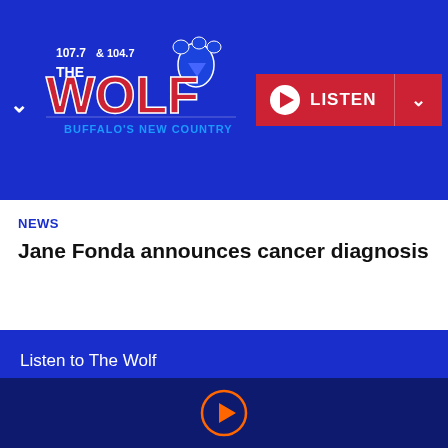[Figure (logo): 107.7 & 104.7 The Wolf - Buffalo's New Country radio station logo with blue wolf paw print]
NEWS
Jane Fonda announces cancer diagnosis
Listen to The Wolf
Contact Us
EEO
Public Inspection File
Contest Rules
FCC Applications
Advertise with Us